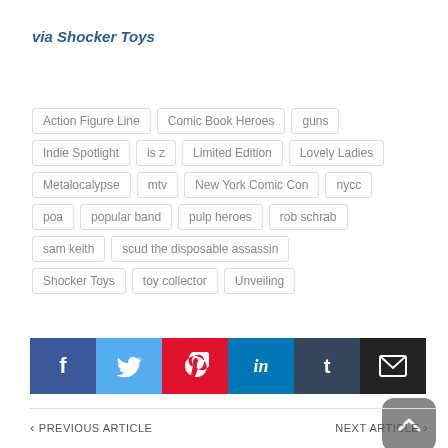via Shocker Toys
Action Figure Line
Comic Book Heroes
guns
Indie Spotlight
is z
Limited Edition
Lovely Ladies
Metalocalypse
mtv
New York Comic Con
nycc
poa
popular band
pulp heroes
rob schrab
sam keith
scud the disposable assassin
Shocker Toys
toy collector
Unveiling
[Figure (other): Social sharing buttons: Facebook, Twitter, Pinterest, LinkedIn, Tumblr, Email]
PREVIOUS ARTICLE
NEXT ARTICLE